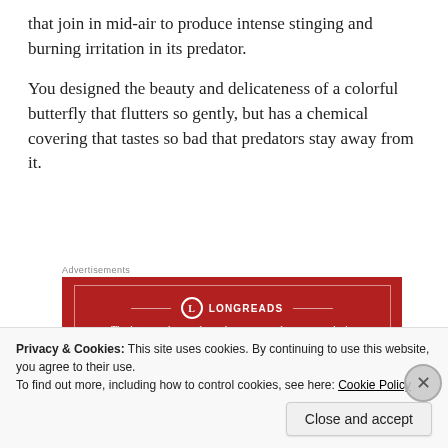that join in mid-air to produce intense stinging and burning irritation in its predator.
You designed the beauty and delicateness of a colorful butterfly that flutters so gently, but has a chemical covering that tastes so bad that predators stay away from it.
[Figure (other): Longreads advertisement banner. Red background with white border and text: 'LONGREADS - The best stories on the web – ours, and everyone else's.']
The list is endless of amazing developments, biological
Privacy & Cookies: This site uses cookies. By continuing to use this website, you agree to their use. To find out more, including how to control cookies, see here: Cookie Policy
Close and accept